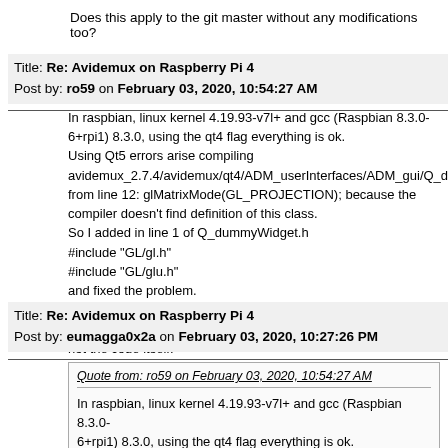Does this apply to the git master without any modifications too?
Title: Re: Avidemux on Raspberry Pi 4
Post by: ro59 on February 03, 2020, 10:54:27 AM
In raspbian, linux kernel 4.19.93-v7l+ and gcc (Raspbian 8.3.0-6+rpi1) 8.3.0, using the qt4 flag everything is ok.
Using Qt5 errors arise compiling avidemux_2.7.4/avidemux/qt4/ADM_userInterfaces/ADM_gui/Q_dummy from line 12: glMatrixMode(GL_PROJECTION); because the compiler doesn't find definition of this class.
So I added in line 1 of Q_dummyWidget.h
#include "GL/gl.h"
#include "GL/glu.h"
and fixed the problem.

For the ARM64 version many changes in conditional compiling not the code itself.
Title: Re: Avidemux on Raspberry Pi 4
Post by: eumagga0x2a on February 03, 2020, 10:27:26 PM
Quote from: ro59 on February 03, 2020, 10:54:27 AM
In raspbian, linux kernel 4.19.93-v7l+ and gcc (Raspbian 8.3.0-6+rpi1) 8.3.0, using the qt4 flag everything is ok.